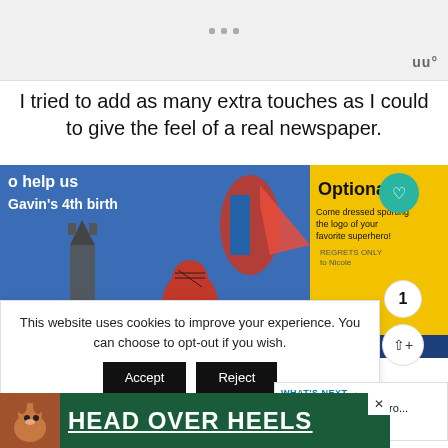[Figure (screenshot): Top ad banner area with three gray dots and a logo watermark]
I tried to add as many extra touches as I could to give the feel of a real newspaper.
[Figure (photo): Superhero birthday invitation with Superman, Batman, Spider-Man characters. Text: 'help us celebrate Gavin's 4th birthday', 'Optional: Come dressed sporting the logo of your favorite superhero!']
This website uses cookies to improve your experience. You can choose to opt-out if you wish.
Accept
Reject
Read More
WHAT'S NEXT → Lego Superhero...
[Figure (screenshot): Bottom advertisement banner: HEAD OVER HEELS with dog image, dark green background]
[Figure (screenshot): Bottom right logo watermark]